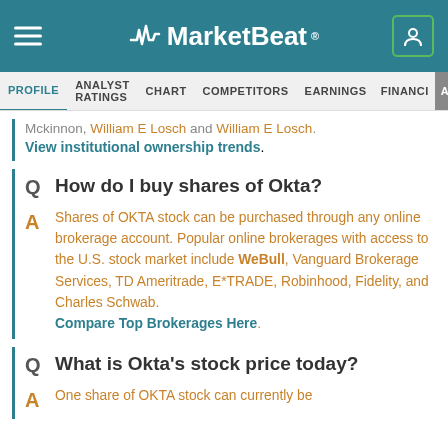MarketBeat
PROFILE | ANALYST RATINGS | CHART | COMPETITORS | EARNINGS | FINANCIALS
Mckinnon, William E Losch and William E Losch. View institutional ownership trends.
Q  How do I buy shares of Okta?
A  Shares of OKTA stock can be purchased through any online brokerage account. Popular online brokerages with access to the U.S. stock market include WeBull, Vanguard Brokerage Services, TD Ameritrade, E*TRADE, Robinhood, Fidelity, and Charles Schwab. Compare Top Brokerages Here.
Q  What is Okta's stock price today?
A  One share of OKTA stock can currently be